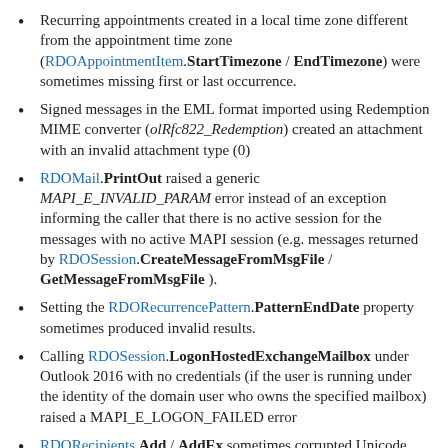Recurring appointments created in a local time zone different from the appointment time zone (RDOAppointmentItem.StartTimezone / EndTimezone) were sometimes missing first or last occurrence.
Signed messages in the EML format imported using Redemption MIME converter (olRfc822_Redemption) created an attachment with an invalid attachment type (0)
RDOMail.PrintOut raised a generic MAPI_E_INVALID_PARAM error instead of an exception informing the caller that there is no active session for the messages with no active MAPI session (e.g. messages returned by RDOSession.CreateMessageFromMsgFile / GetMessageFromMsgFile ).
Setting the RDORecurrencePattern.PatternEndDate property sometimes produced invalid results.
Calling RDOSession.LogonHostedExchangeMailbox under Outlook 2016 with no credentials (if the user is running under the identity of the domain user who owns the specified mailbox) raised a MAPI_E_LOGON_FAILED error
RDORecipients.Add / AddEx sometimes corrupted Unicode